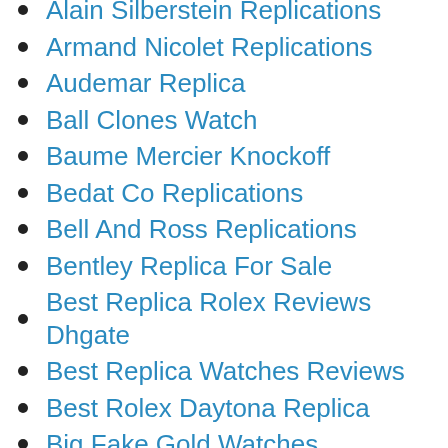Alain Silberstein Replications
Armand Nicolet Replications
Audemar Replica
Ball Clones Watch
Baume Mercier Knockoff
Bedat Co Replications
Bell And Ross Replications
Bentley Replica For Sale
Best Replica Rolex Reviews Dhgate
Best Replica Watches Reviews
Best Rolex Daytona Replica
Big Fake Gold Watches
Blancpain Replications
Breguet Replications
Bremont Replications
Brietling Fake Watches
Brm Replications